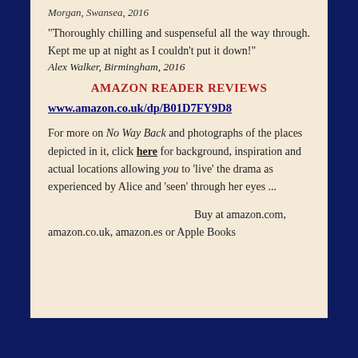Morgan, Swansea, 2016
“Thoroughly chilling and suspenseful all the way through. Kept me up at night as I couldn’t put it down!”
Alex Walker, Birmingham, 2016
AMAZON READER REVIEWS
www.amazon.co.uk/dp/B01D7FY9D8
For more on No Way Back and photographs of the places depicted in it, click here for background, inspiration and actual locations allowing you to ‘live’ the drama as experienced by Alice and ‘seen’ through her eyes ...
Buy at amazon.com, amazon.co.uk, amazon.es or Apple Books